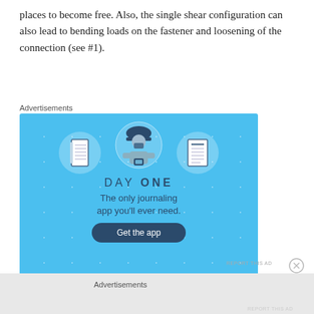places to become free. Also, the single shear configuration can also lead to bending loads on the fastener and loosening of the connection (see #1).
[Figure (other): Advertisement for Day One journaling app. Light blue background with plus-sign pattern. Three icons at top: a spiral notebook, a person holding a phone wearing a hard hat, and a notepad with lines. Text reads 'DAY ONE - The only journaling app you'll ever need.' with a 'Get the app' button.]
Advertisements
Advertisements